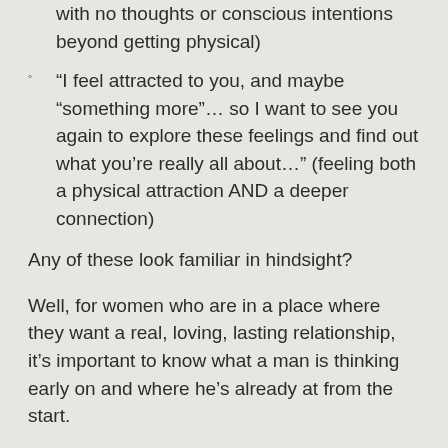with no thoughts or conscious intentions beyond getting physical)
“I feel attracted to you, and maybe “something more”… so I want to see you again to explore these feelings and find out what you’re really all about…” (feeling both a physical attraction AND a deeper connection)
Any of these look familiar in hindsight?
Well, for women who are in a place where they want a real, loving, lasting relationship, it’s important to know what a man is thinking early on and where he’s already at from the start.
(And not finding this out is one of the biggest mistakes that have women investing a ton of their precious time and energy with a guy that has no plans